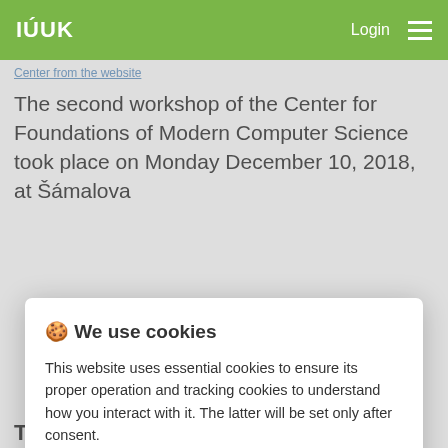IÚUK  Login ☰
Center from the website
The second workshop of the Center for Foundations of Modern Computer Science took place on Monday December 10, 2018, at Šámalova
🍪 We use cookies
This website uses essential cookies to ensure its proper operation and tracking cookies to understand how you interact with it. The latter will be set only after consent.
Let me choose
Accept all
Reject all
The top of the center